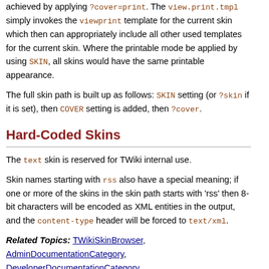achieved by applying ?cover=print. The view.print.tmpl simply invokes the viewprint template for the current skin which then can appropriately include all other used templates for the current skin. Where the printable mode be applied by using SKIN, all skins would have the same printable appearance.
The full skin path is built up as follows: SKIN setting (or ?skin if it is set), then COVER setting is added, then ?cover.
Hard-Coded Skins
The text skin is reserved for TWiki internal use.
Skin names starting with rss also have a special meaning; if one or more of the skins in the skin path starts with 'rss' then 8-bit characters will be encoded as XML entities in the output, and the content-type header will be forced to text/xml.
Related Topics: TWikiSkinBrowser, AdminDocumentationCategory, DeveloperDocumentationCategory, TWiki:TWiki.TWikiSkinsSupplement